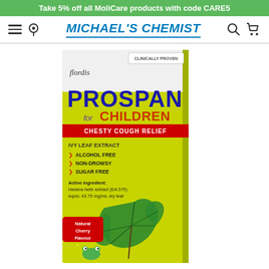Take 5% off all MoliCare products with code CARE5
[Figure (logo): Michael's Chemist navigation bar with hamburger menu, location pin, brand logo, search and cart icons]
[Figure (photo): Prospan for Children Chesty Cough Relief product box by Flordis. Ivy leaf extract. Alcohol free, non-drowsy, sugar free. Active ingredient: Hedera helix extract (EA 575) equiv. 43.75 mg/mL dry leaf. Natural Cherry Flavour. Clinically Proven.]